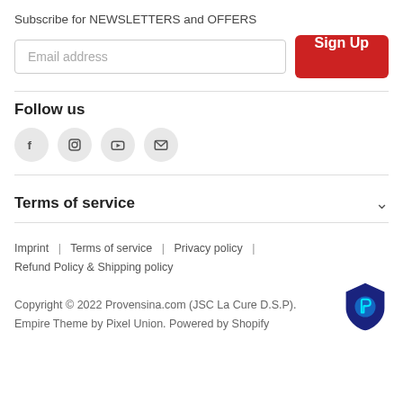Subscribe for NEWSLETTERS and OFFERS
Email address
Sign Up
Follow us
[Figure (illustration): Social media icons: Facebook, Instagram, YouTube, Email]
Terms of service
Imprint | Terms of service | Privacy policy | Refund Policy & Shipping policy
Copyright © 2022 Provensina.com (JSC La Cure D.S.P). Empire Theme by Pixel Union. Powered by Shopify
[Figure (logo): Blue shield logo with letter P]